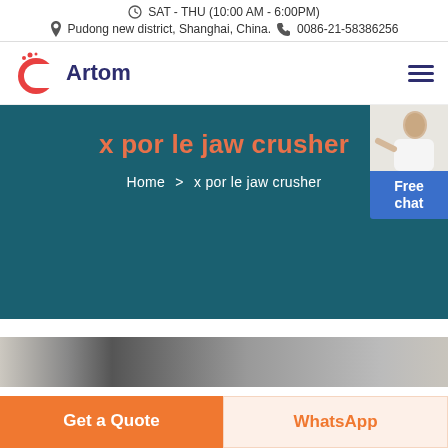SAT - THU (10:00 AM - 6:00PM)
Pudong new district, Shanghai, China.  0086-21-58386256
[Figure (logo): Artom company logo with a red circular C and blue dot elements, with bold dark blue 'Artom' text]
x por le jaw crusher
Home > x por le jaw crusher
[Figure (photo): Partial view of industrial jaw crusher machinery in grayscale]
Get a Quote
WhatsApp